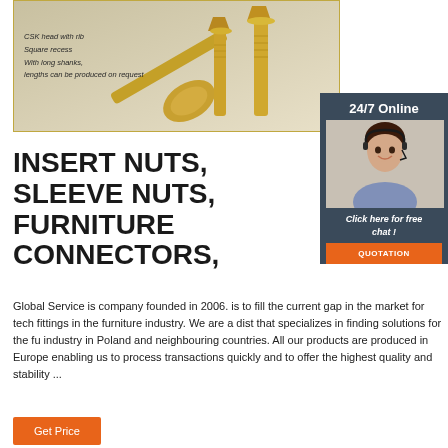[Figure (photo): Product photo showing gold/brass CSK head screws with annotation text: CSK head with rib, Square recess, With long shanks, lengths can be produced on request]
[Figure (photo): 24/7 Online chat panel with woman agent wearing headset, Click here for free chat!, QUOTATION button]
INSERT NUTS, SLEEVE NUTS, FURNITURE CONNECTORS,
Global Service is company founded in 2006. is to fill the current gap in the market for tech fittings in the furniture industry. We are a dist that specializes in finding solutions for the fu industry in Poland and neighbouring countries. All our products are produced in Europe enabling us to process transactions quickly and to offer the highest quality and stability ...
Get Price